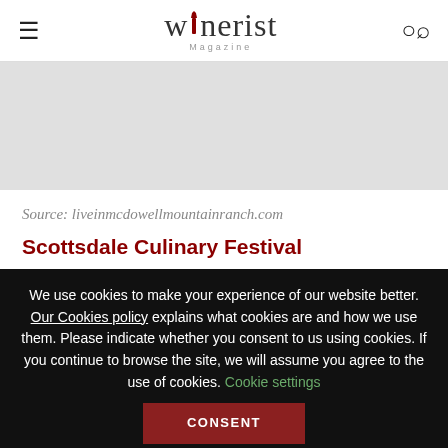winerist Magazine
[Figure (illustration): Gray placeholder area for an image]
Source: liveinmcdowellmountainranch.com
Scottsdale Culinary Festival
We use cookies to make your experience of our website better. Our Cookies policy explains what cookies are and how we use them. Please indicate whether you consent to us using cookies. If you continue to browse the site, we will assume you agree to the use of cookies. Cookie settings CONSENT